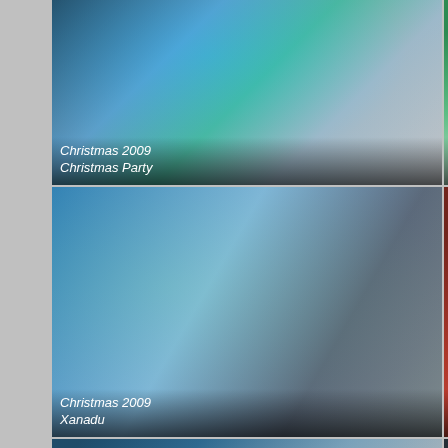[Figure (photo): People at a counter or office setting, Christmas 2009 Christmas Party]
[Figure (photo): Trees and outdoor scene with building, Christmas 2009 Disneyland and George]
[Figure (photo): People with bikes outdoors, Christmas 2009 Xanadu]
[Figure (photo): Person on bed in room with red bedding, Christmas 2009 Fun Days]
[Figure (photo): People gathered indoors, Thanksgiving 2009 Bring out the turkey]
[Figure (photo): Rustic lodge interior with lights, Trip to Yosemite 2009 Yosemite]
[Figure (photo): Trees with leaves against sky, Trip to Yosemite 2009 Ahwahnee Hotel]
[Figure (photo): Hotel lobby interior with columns, Trip to Yosemite 2009 Ahwahnee Hotel]
[Figure (photo): Rock formation / mountain view, Yosemite]
[Figure (photo): Couch or sofa indoors]